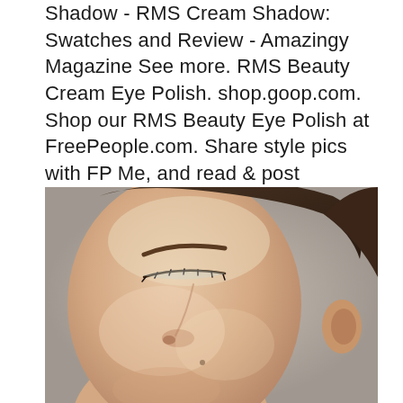Shadow - RMS Cream Shadow: Swatches and Review - Amazingy Magazine See more. RMS Beauty Cream Eye Polish. shop.goop.com. Shop our RMS Beauty Eye Polish at FreePeople.com. Share style pics with FP Me, and read & post reviews. Free shipping worldwide - see site for details. Face Beauty Beauty Makeup Tips Natural Beauty Tips Beauty Secrets Beauty Care.
[Figure (photo): Close-up portrait of a woman with closed eye showing minimal eye makeup, smooth skin, defined eyebrow, and dark hair pulled back. The image shows the side profile of her face from forehead to chin, with a neutral background.]